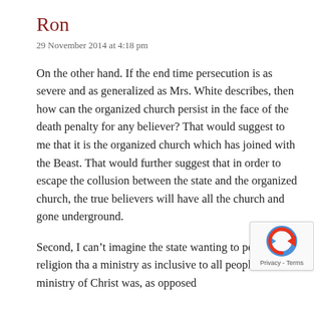Ron
29 November 2014 at 4:18 pm
On the other hand. If the end time persecution is as severe and as generalized as Mrs. White describes, then how can the organized church persist in the face of the death penalty for any believer? That would suggest to me that it is the organized church which has joined with the Beast. That would further suggest that in order to escape the collusion between the state and the organized church, the true believers will have all the church and gone underground.
Second, I can’t imagine the state wanting to persecute a religion tha a ministry as inclusive to all peopl the ministry of Christ was, as opposed